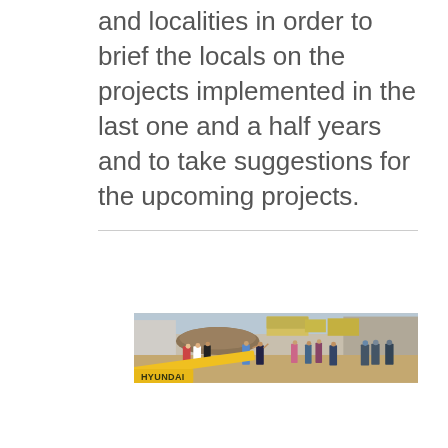and localities in order to brief the locals on the projects implemented in the last one and a half years and to take suggestions for the upcoming projects.
[Figure (photo): Outdoor scene showing a crowd of people gathered near a Hyundai excavator/construction equipment in a dusty area. People in traditional and everyday clothing, some police officers in uniform with helmets visible on the right. Thatched-roof structures, dump trucks, and a construction site visible in the background.]